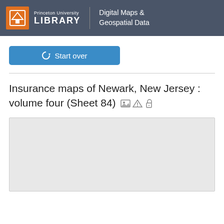Princeton University LIBRARY | Digital Maps & Geospatial Data
Start over
Insurance maps of Newark, New Jersey : volume four (Sheet 84)
[Figure (map): Gray placeholder map preview area]